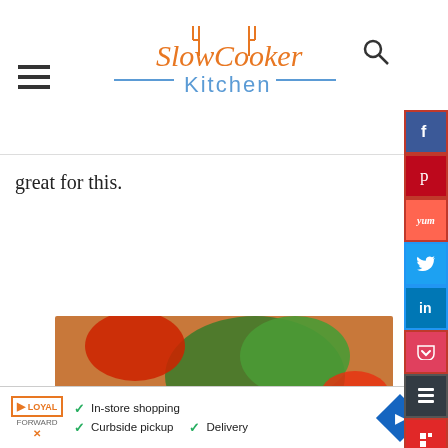Slow Cooker Kitchen
great for this.
[Figure (photo): A food photo showing Crock Pot Taco Soup with vegetables, ground meat, and garnishes. Text overlay reads 'Crock Pot TACO SOUP ~ Freezer Directions ~ From Scratch Options ~']
[Figure (infographic): Advertisement banner: Loyal logo, In-store shopping, Curbside pickup, Delivery options with navigation icon and close button]